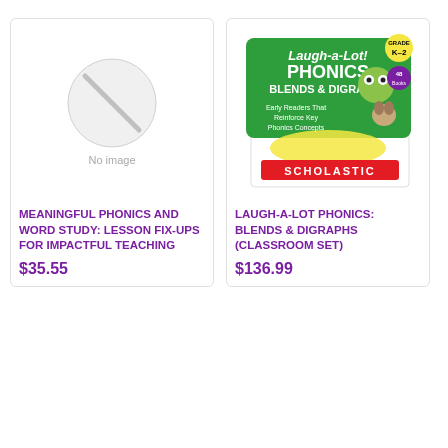[Figure (other): No image placeholder circle with diagonal line]
MEANINGFUL PHONICS AND WORD STUDY: LESSON FIX-UPS FOR IMPACTFUL TEACHING
$35.55
[Figure (photo): Laugh-a-Lot Phonics Blends & Digraphs classroom set box by Scholastic, green box with frog and dog characters]
LAUGH-A-LOT PHONICS: BLENDS & DIGRAPHS (CLASSROOM SET)
$136.99